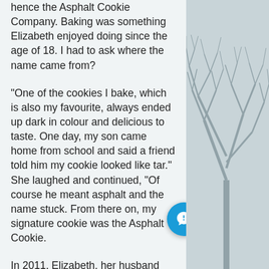hence the Asphalt Cookie Company. Baking was something Elizabeth enjoyed doing since the age of 18. I had to ask where the name came from?
“One of the cookies I bake, which is also my favourite, always ended up dark in colour and delicious to taste. One day, my son came home from school and said a friend told him my cookie looked like tar.” She laughed and continued, “Of course he meant asphalt and the name stuck. From there on, my signature cookie was the Asphalt Cookie.
In 2011, Elizabeth, her husband and family moved into town and decided get very involved with the Farmer’s m in Port Perry. She ended up managing it,
[Figure (illustration): Bare tree silhouette illustration in grey tones on the right side column of the page]